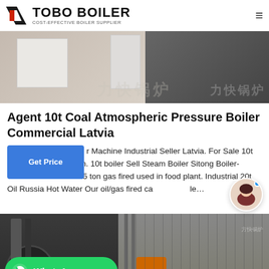TOBO BOILER — COST-EFFECTIVE BOILER SUPPLIER
[Figure (photo): Industrial boiler equipment in a factory/warehouse setting, two-panel photo with light left side showing white panels and darker right side with machinery]
Agent 10t Coal Atmospheric Pressure Boiler Commercial Latvia
r Machine Industrial Seller Latvia. For Sale 10t Coal boiler Azerbaijan. 10t boiler Sell Steam Boiler Sitong Boiler-Thermal Oil heater. 15 ton gas fired used in food plant. Industrial 20t Oil Russia Hot Water Our oil/gas fired ca...
[Figure (photo): Industrial boiler installation in a large facility, showing large cylindrical boiler equipment with pipes and structural framework, partially overlaid with WhatsApp button]